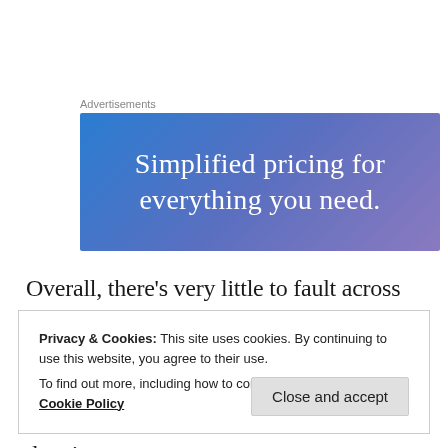Advertisements
[Figure (illustration): Advertisement banner with blue-to-purple gradient background and white text reading 'Simplified pricing for everything you need.']
Overall, there’s very little to fault across Split The Tip’s eleven minute length, with each artist bringing a similar amount, to warrant similarly high levels of praise. Although the two styles differ there’s no denying
Privacy & Cookies: This site uses cookies. By continuing to use this website, you agree to their use.
To find out more, including how to control cookies, see here: Cookie Policy
Close and accept